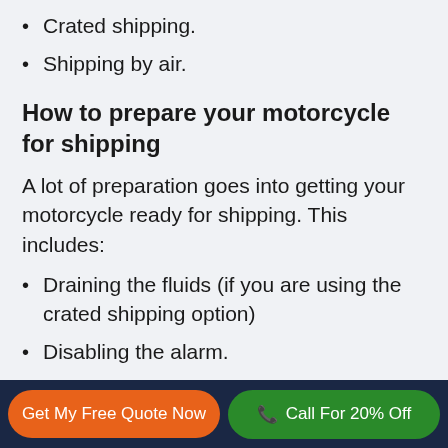Crated shipping.
Shipping by air.
How to prepare your motorcycle for shipping
A lot of preparation goes into getting your motorcycle ready for shipping. This includes:
Draining the fluids (if you are using the crated shipping option)
Disabling the alarm.
Check the tire pressure.
Ensuring that the… (partially visible)